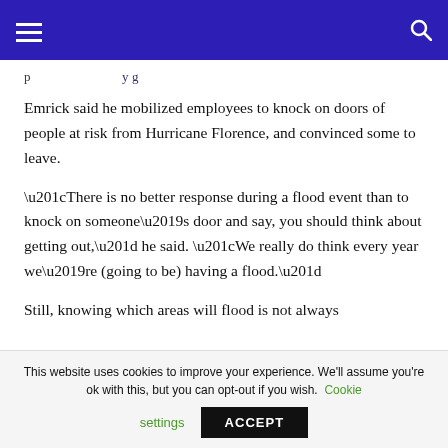[navigation bar with hamburger menu and search icon]
p ... y g
Emrick said he mobilized employees to knock on doors of people at risk from Hurricane Florence, and convinced some to leave.
“There is no better response during a flood event than to knock on someone’s door and say, you should think about getting out,” he said. “We really do think every year we’re (going to be) having a flood.”
Still, knowing which areas will flood is not always
This website uses cookies to improve your experience. We’ll assume you’re ok with this, but you can opt-out if you wish. Cookie settings ACCEPT